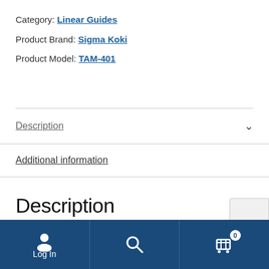Category: Linear Guides
Product Brand: Sigma Koki
Product Model: TAM-401
Description
Additional information
Description
Log In  [search]  [cart 0]